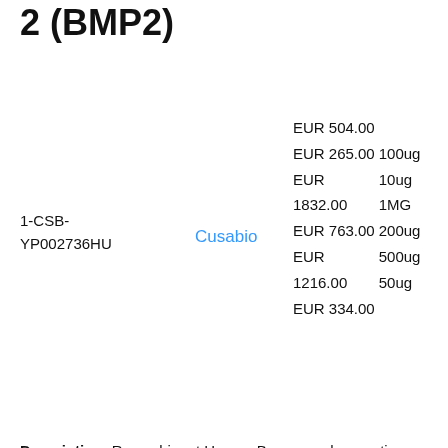2 (BMP2)
1-CSB-YP002736HU
Cusabio
| Price | Quantity |
| --- | --- |
| EUR 504.00 |  |
| EUR 265.00 | 100ug |
| EUR | 10ug |
| 1832.00 | 1MG |
| EUR 763.00 | 200ug |
| EUR | 500ug |
| 1216.00 | 50ug |
| EUR 334.00 |  |
Description: Recombinant Human Bone morphogenetic protein 2(BMP2) expressed in Yeast
[Figure (photo): Product image placeholder with text 'Bone morphogenetic protein 2 (BMP)']